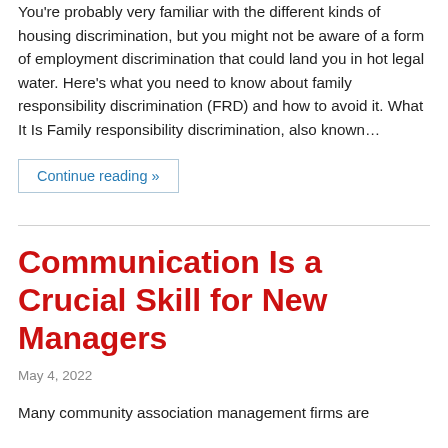You're probably very familiar with the different kinds of housing discrimination, but you might not be aware of a form of employment discrimination that could land you in hot legal water. Here's what you need to know about family responsibility discrimination (FRD) and how to avoid it. What It Is Family responsibility discrimination, also known…
Continue reading »
Communication Is a Crucial Skill for New Managers
May 4, 2022
Many community association management firms are